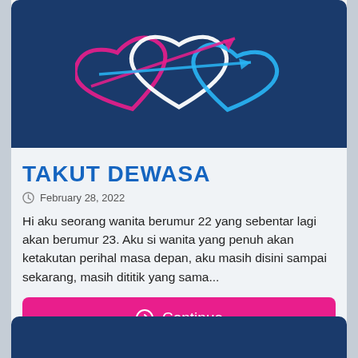[Figure (illustration): Dark navy blue banner with decorative heart and arrow doodle graphics in pink, white, and light blue on a dark blue background]
TAKUT DEWASA
February 28, 2022
Hi aku seorang wanita berumur 22 yang sebentar lagi akan berumur 23. Aku si wanita yang penuh akan ketakutan perihal masa depan, aku masih disini sampai sekarang, masih dititik yang sama...
Continue
[Figure (illustration): Bottom portion of a second dark navy blue card visible at the bottom of the page]